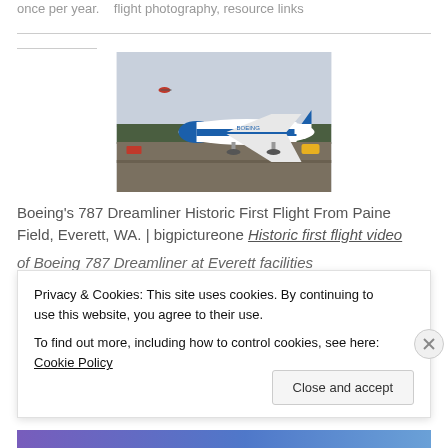once per year.    flight photography, resource links
[Figure (photo): Boeing 787 Dreamliner on runway at Paine Field, Everett WA, with a helicopter visible in the background]
Boeing's 787 Dreamliner Historic First Flight From Paine Field, Everett, WA. | bigpictureone Historic first flight video of Boeing 787 Dreamliner at Everett facilities by
Privacy & Cookies: This site uses cookies. By continuing to use this website, you agree to their use.
To find out more, including how to control cookies, see here: Cookie Policy
Close and accept